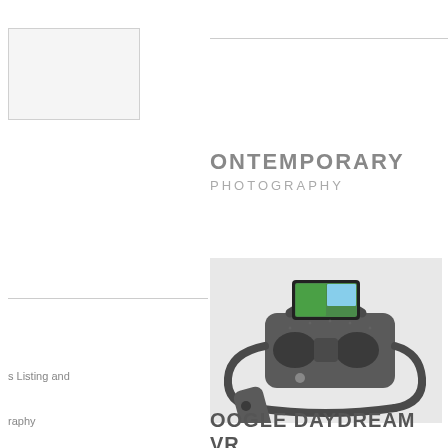[Figure (other): Thumbnail image placeholder box in top-left corner]
CONTEMPORARY Photography
s Listing and
[Figure (photo): Google Daydream VR headset with smartphone inserted, shown against white background with controller]
raphy
OOGLE DAYDREAM VR